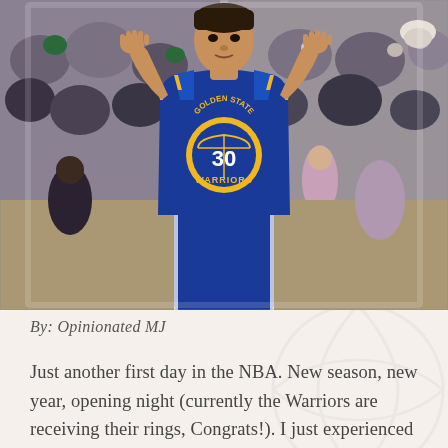[Figure (photo): Basketball player wearing Golden State Warriors blue jersey number 30 (Stephen Curry) with hands raised near head, crowd visible in background]
By: Opinionated MJ
Just another first day in the NBA. New season, new year, opening night (currently the Warriors are receiving their rings, Congrats!). I just experienced what could just be a rusty day in the NBA, or maybe not. Surprisingly, two teams came out victorious that I'm sure